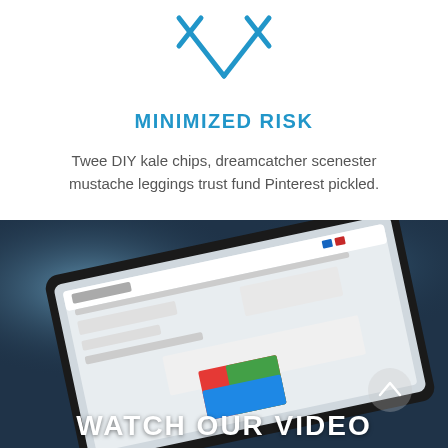[Figure (illustration): Blue line-art icon showing two diverging upward arrows forming a tent/A-shape, representing minimized risk]
MINIMIZED RISK
Twee DIY kale chips, dreamcatcher scenester mustache leggings trust fund Pinterest pickled.
[Figure (photo): Dark background photo of a tablet displaying a product catalog website showing 'Décor PLACEMATS & TRAY COVERS', with blurred bokeh lighting behind]
WATCH OUR VIDEO